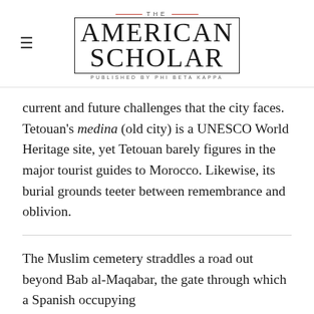THE AMERICAN SCHOLAR — PUBLISHED BY PHI BETA KAPPA
current and future challenges that the city faces. Tetouan's medina (old city) is a UNESCO World Heritage site, yet Tetouan barely figures in the major tourist guides to Morocco. Likewise, its burial grounds teeter between remembrance and oblivion.
The Muslim cemetery straddles a road out beyond Bab al-Maqabar, the gate through which a Spanish occupying